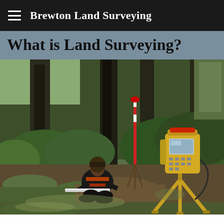Brewton Land Surveying
What is Land Surveying?
[Figure (photo): A land surveyor crouching on the ground holding a measuring rod in a wooded area, with a yellow total station instrument on a tripod in the foreground right, and a red-topped ranging rod on a tripod in the background center. Dense green ferns and tall trees visible in the background.]